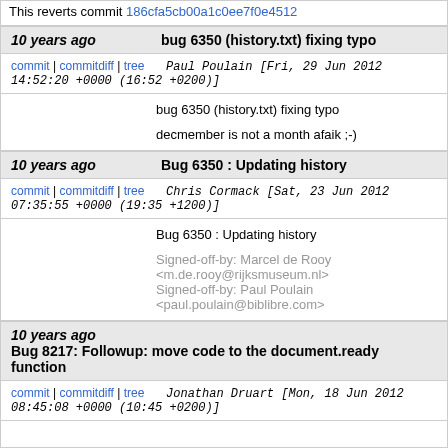This reverts commit 186cfa5cb00a1c0ee7f0e4512…
10 years ago   bug 6350 (history.txt) fixing typo
commit | commitdiff | tree   Paul Poulain [Fri, 29 Jun 2012 14:52:20 +0000 (16:52 +0200)]
bug 6350 (history.txt) fixing typo

decmember is not a month afaik ;-)
10 years ago   Bug 6350 : Updating history
commit | commitdiff | tree   Chris Cormack [Sat, 23 Jun 2012 07:35:55 +0000 (19:35 +1200)]
Bug 6350 : Updating history

Signed-off-by: Marcel de Rooy <m.de.rooy@rijksmuseum.nl>
Signed-off-by: Paul Poulain <paul.poulain@biblibre.com>
10 years ago   Bug 8217: Followup: move code to the document.ready function
commit | commitdiff | tree   Jonathan Druart [Mon, 18 Jun 2012 08:45:08 +0000 (10:45 +0200)]